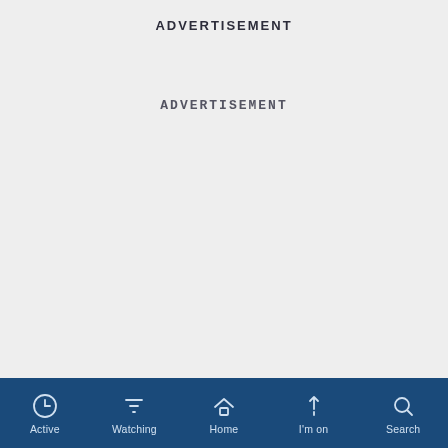ADVERTISEMENT
ADVERTISEMENT
[Figure (screenshot): Mobile app navigation bar with icons and labels: Active (clock icon), Watching (filter icon), Home (house icon), I'm on (pin icon), Search (magnifying glass icon) on a dark blue background]